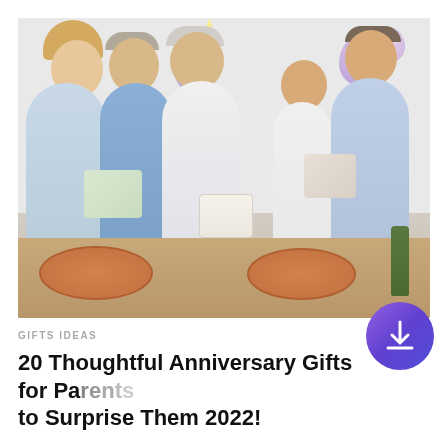[Figure (photo): Family celebration scene with elderly woman holding birthday cake surrounded by family members including a young woman, elderly man, boy, and younger man with gifts, pizza, and decorations on a table, balloons in background]
GIFTS IDEAS
20 Thoughtful Anniversary Gifts for Parents to Surprise Them 2022!